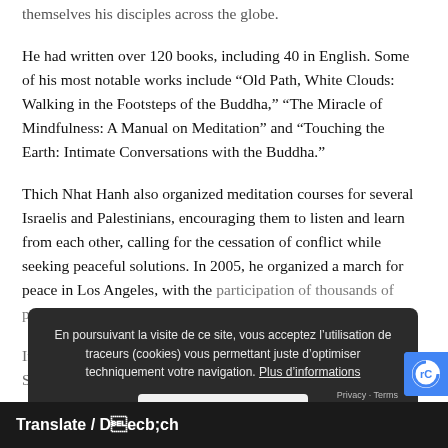themselves his disciples across the globe.
He had written over 120 books, including 40 in English. Some of his most notable works include “Old Path, White Clouds: Walking in the Footsteps of the Buddha,” “The Miracle of Mindfulness: A Manual on Meditation” and “Touching the Earth: Intimate Conversations with the Buddha.”
Thich Nhat Hanh also organized meditation courses for several Israelis and Palestinians, encouraging them to listen and learn from each other, calling for the cessation of conflict while seeking peaceful solutions. In 2005, he organized a march for peace in Los Angeles, with the participation of thousands of people.
In May 2013, in a speech lasting three hours at a stadium in South Korea, he discussed the relationship between... Korea.
En poursuivant la visite de ce site, vous acceptez l’utilisation de traceurs (cookies) vous permettant juste d’optimiser techniquement votre navigation. Plus d’informations
Accepter
Translate / Dịch